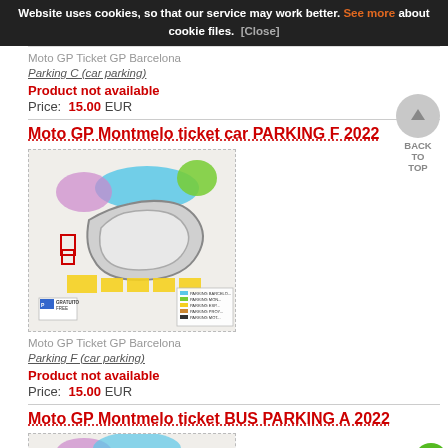Website uses cookies, so that our service may work better. See more about cookie files. [Close]
Moto GP Ticket GP Barcelona
Parking C (car parking)
Product not available
Price: 15.00 EUR
Moto GP Montmelo ticket car PARKING F 2022
[Figure (map): Circuit map of Montmelo GP Barcelona showing parking zones including Parking F highlighted in yellow, with color-coded parking areas (blue, green, yellow, red) and a legend]
Moto GP Ticket GP Barcelona
Parking F (car parking)
Product not available
Price: 15.00 EUR
Moto GP Montmelo ticket BUS PARKING A 2022
[Figure (map): Partial circuit map of Montmelo showing bus parking zone A]